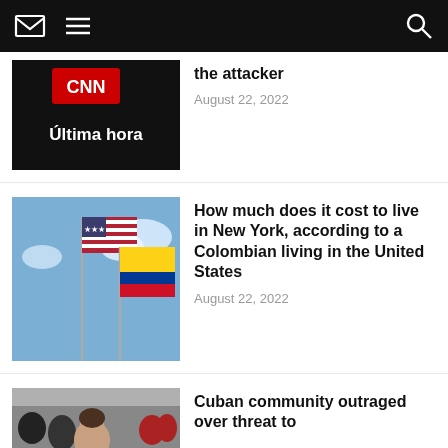CNN en Español – navigation bar
the attacker
August 22, 2022
[Figure (photo): CNN en Español Última hora (breaking news) thumbnail with CNN logo on black background]
How much does it cost to live in New York, according to a Colombian living in the United States
August 22, 2022
[Figure (photo): US and Colombian flags flying together against a blue sky with clouds]
Cuban community outraged over threat to
[Figure (photo): Photo of a woman with people in background at an outdoor event]